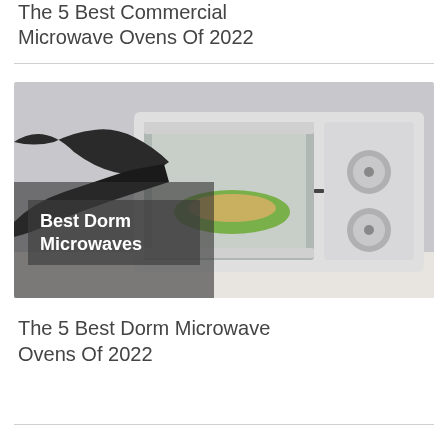The 5 Best Commercial Microwave Ovens Of 2022
[Figure (photo): A microwave oven being opened by a hand, with a green plate of food visible inside. A dark semi-transparent overlay on the left side bears the bold white text 'Best Dorm Microwaves'.]
The 5 Best Dorm Microwave Ovens Of 2022